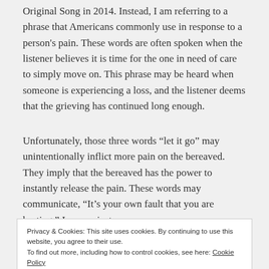Original Song in 2014. Instead, I am referring to a phrase that Americans commonly use in response to a person's pain. These words are often spoken when the listener believes it is time for the one in need of care to simply move on. This phrase may be heard when someone is experiencing a loss, and the listener deems that the grieving has continued long enough.
Unfortunately, those three words “let it go” may unintentionally inflict more pain on the bereaved. They imply that the bereaved has the power to instantly release the pain. These words may communicate, “It’s your own fault that you are hurting.” In some instances,
Privacy & Cookies: This site uses cookies. By continuing to use this website, you agree to their use.
To find out more, including how to control cookies, see here: Cookie Policy
Close and accept
helpless to change the situation, thereby coming face to